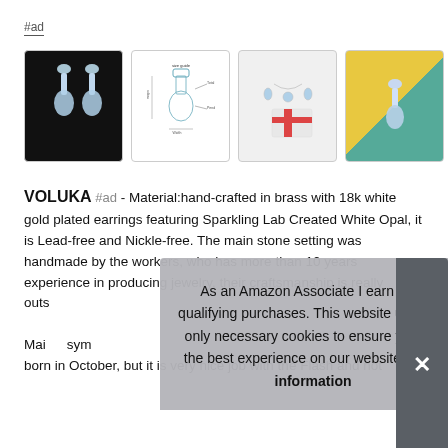#ad
[Figure (photo): Four product images of Voluka earrings: 1) earrings on black background, 2) technical diagram with measurements, 3) earrings and necklace set with gift box with red ribbon, 4) earrings on colorful yellow/green background]
VOLUKA #ad - Material:hand-crafted in brass with 18k white gold plated earrings featuring Sparkling Lab Created White Opal, it is Lead-free and Nickle-free. The main stone setting was handmade by the workers, who has more than 10 years experience in producing jewelry, their craftsmanship is really outstanding. Main ... sym ... born in October, but it is very nice job with the Flash and not
As an Amazon Associate I earn from qualifying purchases. This website uses the only necessary cookies to ensure you get the best experience on our website. More information